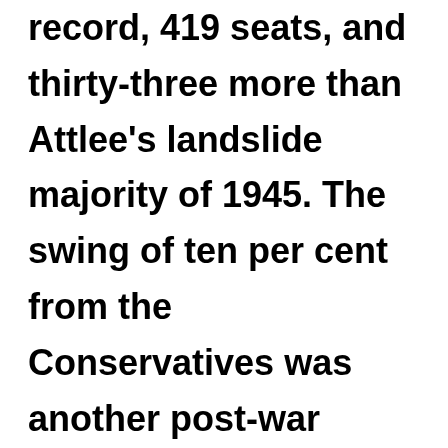record, 419 seats, and thirty-three more than Attlee's landslide majority of 1945. The swing of ten per cent from the Conservatives was another post-war record, roughly double that which the 1979 Thatcher victory had produced in the opposite direction. But the turn-out was very low, at seventy-one per cent the lowest since 1935. Labour had won a famous victory but nothing like as many